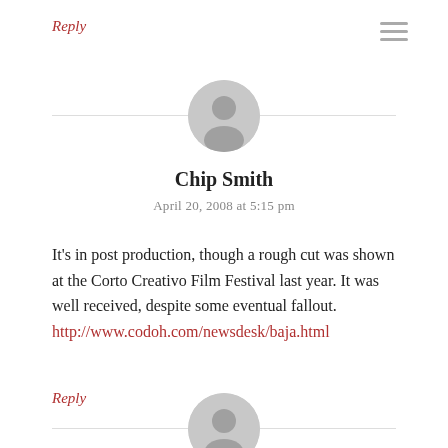Reply
[Figure (illustration): Circular grey avatar/profile placeholder icon for user Chip Smith]
Chip Smith
April 20, 2008 at 5:15 pm
It's in post production, though a rough cut was shown at the Corto Creativo Film Festival last year. It was well received, despite some eventual fallout. http://www.codoh.com/newsdesk/baja.html
Reply
[Figure (illustration): Circular grey avatar/profile placeholder icon for user makelélé]
makelélé